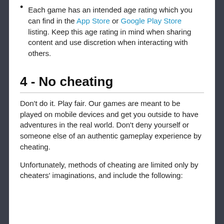Each game has an intended age rating which you can find in the App Store or Google Play Store listing. Keep this age rating in mind when sharing content and use discretion when interacting with others.
4 - No cheating
Don't do it. Play fair. Our games are meant to be played on mobile devices and get you outside to have adventures in the real world. Don't deny yourself or someone else of an authentic gameplay experience by cheating.
Unfortunately, methods of cheating are limited only by cheaters' imaginations, and include the following: